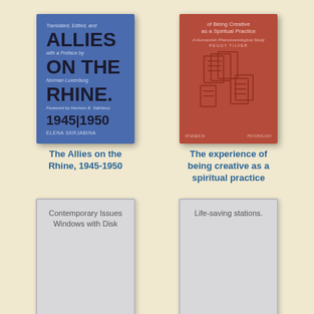[Figure (illustration): Book cover: The Allies on the Rhine 1945-1950 by Elena Skrjabina, blue cover with bold black title text]
The Allies on the Rhine, 1945-1950
[Figure (illustration): Book cover: The experience of being creative as a spiritual practice, red cover with abstract line art]
The experience of being creative as a spiritual practice
[Figure (illustration): Book cover placeholder: Contemporary Issues Windows with Disk, gray cover]
[Figure (illustration): Book cover placeholder: Life-saving stations, gray cover]